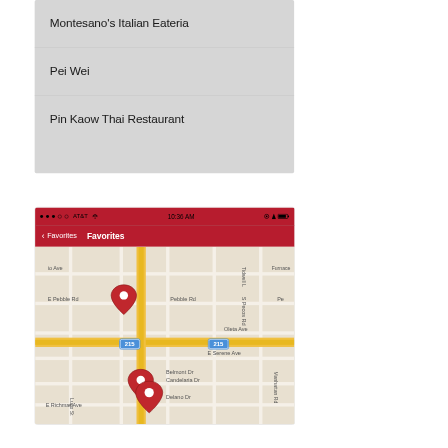Montesano's Italian Eateria
Pei Wei
Pin Kaow Thai Restaurant
[Figure (screenshot): iOS app screenshot showing Favorites map view with red navigation bar, status bar showing AT&T carrier 10:36 AM, and a map with red location pins near E Pebble Rd and E Serene Ave area, with highway 215 visible]
Favorites